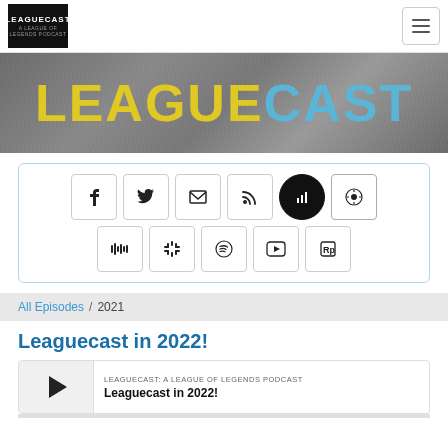Leaguecast logo and hamburger menu navigation
[Figure (logo): Leaguecast banner with LEAGUE in yellow and CAST in blue on dark grey textured background]
[Figure (infographic): Social media and podcast platform icon buttons: Facebook, Twitter, Email, RSS, Chartable, Apple Podcasts, Stitcher, Google Podcasts, Spotify, YouTube, RadioPublic]
All Episodes / 2021
Leaguecast in 2022!
LEAGUECAST: A LEAGUE OF LEGENDS PODCAST
Leaguecast in 2022!